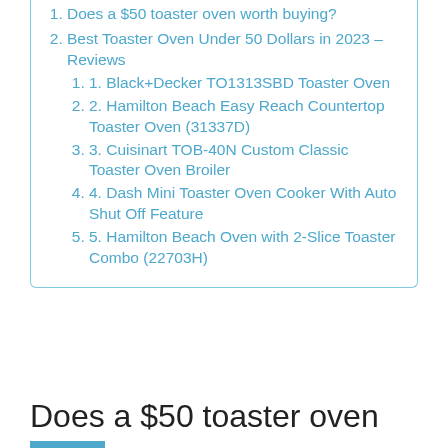1. Does a $50 toaster oven worth buying?
2. Best Toaster Oven Under 50 Dollars in 2023 – Reviews
1. 1. Black+Decker TO1313SBD Toaster Oven
2. 2. Hamilton Beach Easy Reach Countertop Toaster Oven (31337D)
3. 3. Cuisinart TOB-40N Custom Classic Toaster Oven Broiler
4. 4. Dash Mini Toaster Oven Cooker With Auto Shut Off Feature
5. 5. Hamilton Beach Oven with 2-Slice Toaster Combo (22703H)
Does a $50 toaster oven